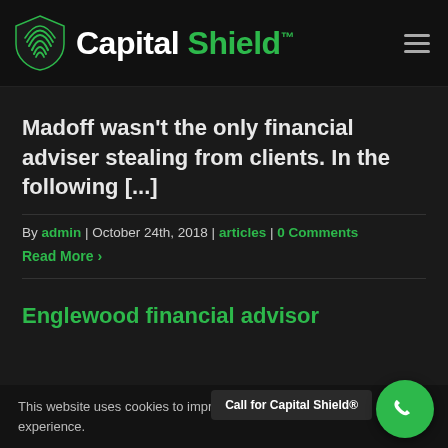Capital Shield
Madoff wasn't the only financial adviser stealing from clients. In the following [...]
By admin | October 24th, 2018 | articles | 0 Comments
Read More
Englewood financial advisor
This website uses cookies to improve user experience.
Call for Capital Shield®